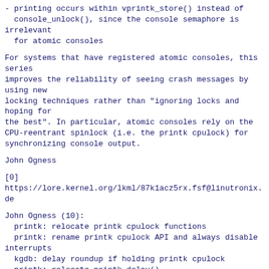- printing occurs within vprintk_store() instead of
  console_unlock(), since the console semaphore is irrelevant
  for atomic consoles
For systems that have registered atomic consoles, this series
improves the reliability of seeing crash messages by using new
locking techniques rather than "ignoring locks and hoping for
the best". In particular, atomic consoles rely on the
CPU-reentrant spinlock (i.e. the printk cpulock) for
synchronizing console output.
John Ogness
[0]
https://lore.kernel.org/lkml/87k1acz5rx.fsf@linutronix.de
John Ogness (10):
  printk: relocate printk cpulock functions
  printk: rename printk cpulock API and always disable interrupts
  kgdb: delay roundup if holding printk cpulock
  printk: relocate printk_delay()
  printk: call boot_delay_msec() in printk_delay()
  printk: use seqcount_latch for console_seq
  console: add write atomic interface